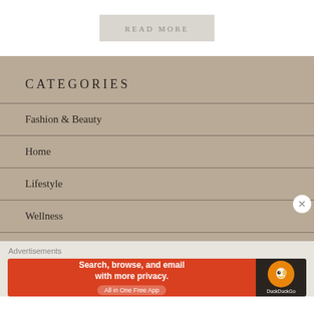READ MORE
CATEGORIES
Fashion & Beauty
Home
Lifestyle
Wellness
Advertisements
[Figure (screenshot): DuckDuckGo advertisement banner: 'Search, browse, and email with more privacy. All in One Free App' on orange background with DuckDuckGo logo on dark background]